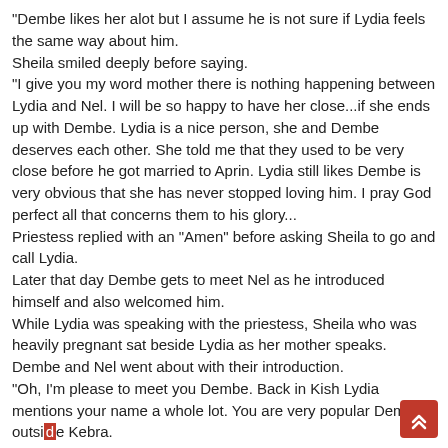"Dembe likes her alot but I assume he is not sure if Lydia feels the same way about him.
Sheila smiled deeply before saying.
"I give you my word mother there is nothing happening between Lydia and Nel. I will be so happy to have her close...if she ends up with Dembe. Lydia is a nice person, she and Dembe deserves each other. She told me that they used to be very close before he got married to Aprin. Lydia still likes Dembe is very obvious that she has never stopped loving him. I pray God perfect all that concerns them to his glory...
Priestess replied with an "Amen" before asking Sheila to go and call Lydia.
Later that day Dembe gets to meet Nel as he introduced himself and also welcomed him.
While Lydia was speaking with the priestess, Sheila who was heavily pregnant sat beside Lydia as her mother speaks.
Dembe and Nel went about with their introduction.
"Oh, I'm please to meet you Dembe. Back in Kish Lydia mentions your name a whole lot. You are very popular Dembe outside Kebra.